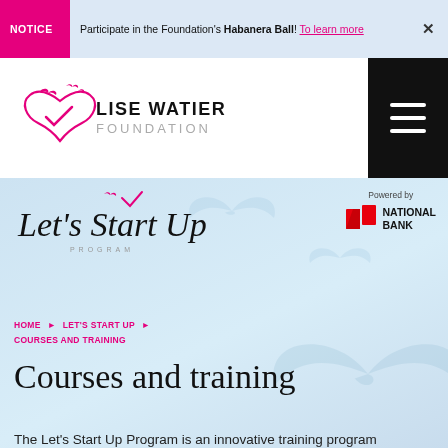NOTICE — Participate in the Foundation's Habanera Ball! To learn more
[Figure (logo): Lise Watier Foundation logo with heart and birds motif, name in bold and FOUNDATION in grey]
[Figure (logo): Hamburger/menu button, black background with three white lines]
[Figure (logo): Let's Start Up Program script logo with pink checkmark and PROGRAM subtitle]
[Figure (logo): Powered by National Bank logo — red flag icon and bold NATIONAL BANK text]
HOME > LET'S START UP > COURSES AND TRAINING
Courses and training
The Let's Start Up Program is an innovative training program divided into three steps.